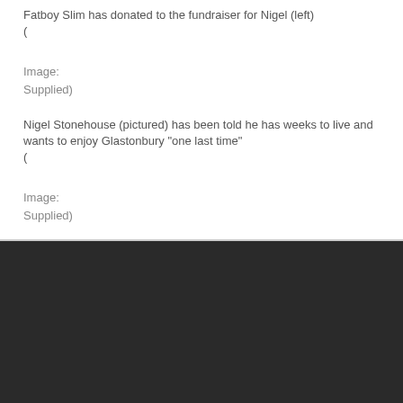Fatboy Slim has donated to the fundraiser for Nigel (left)
(
Image:
Supplied)
Nigel Stonehouse (pictured) has been told he has weeks to live and wants to enjoy Glastonbury "one last time"
(
Image:
Supplied)
We use cookies in order to give you the best possible experience on our website. By continuing to use this site, you agree to our use of cookies. You can find a detailed description in our Privacy Policy.
Accept
Reject
Read More...